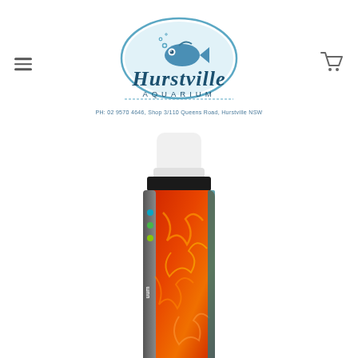[Figure (logo): Hurstville Aquarium logo — circular fish illustration with 'Hurstville' in decorative teal lettering and 'AQUARIUM' in spaced caps below, address line: PH: 02 9570 4646, Shop 3/110 Queens Road, Hurstville NSW]
[Figure (photo): A bottle of aquarium product (appears to be a Fauna Marin / Aquarium supplement) with white cap and black collar, label showing red/orange coral or fire-like texture, photographed against white background, partially cropped at bottom]